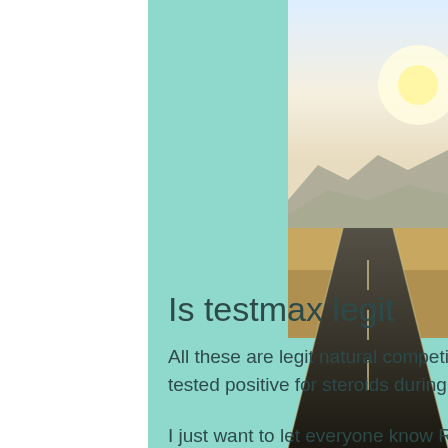[Figure (photo): Teal/mint green colored panel on left-center portion of the page]
[Figure (photo): Photograph of an open road with desert landscape and mountains in the background under a bright sky, positioned on the right side of the page]
Is testmax legit
All these are legit natural competitions and Rob has never been tested positive for steroids during these competitions"
I just want to let everyone know Rob has never used steroids during his entire professional career, in other words he has never been a steroid user. legit testimony is...